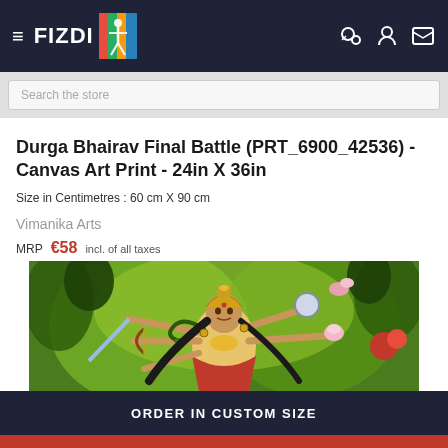FIZDI
Search the store
Durga Bhairav Final Battle (PRT_6900_42536) - Canvas Art Print - 24in X 36in
Size in Centimetres : 60 cm X 90 cm
Vimanika Arts
MRP €58 incl. of all taxes
[Figure (illustration): Comic-style illustration of Goddess Durga with multiple arms holding weapons in a green jungle background]
ORDER IN CUSTOM SIZE
ADD TO CART